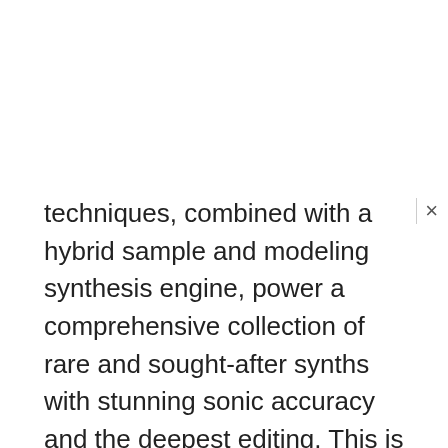techniques, combined with a hybrid sample and modeling synthesis engine, power a comprehensive collection of rare and sought-after synths with stunning sonic accuracy and the deepest editing. This is a massive update to the previous release, adding 11 new synths, exciting new, advanced, and much-requested functionality, and a huge number of all-new presets for the 22 original synths taking advantage of all these new features. Syntronik 2 offers 33 legendary synths available in 4 different versions or as individual instruments. There are over 5,500 presets that